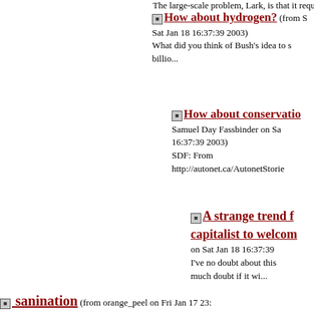How about hydrogen? (from S... Sat Jan 18 16:37:39 2003) What did you think of Bush's idea to s... billio...
How about conservatio... Samuel Day Fassbinder on Sa... 16:37:39 2003) SDF: From http://autonet.ca/AutonetStorie...
A strange trend f... capitalist to welcom... on Sat Jan 18 16:37:39... I've no doubt about this... much doubt if it wi...
sanination (from orange_peel on Fri Jan 17 23:... hi. not sure if i'm allowed to mention other pages on...
older messages »
>> mclibel . issues . campaigns . company . media . beyond . debate <<